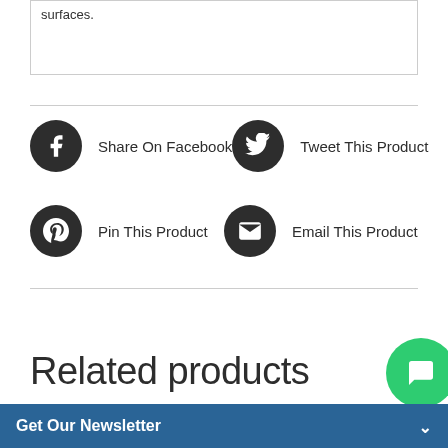surfaces.
Share On Facebook
Tweet This Product
Pin This Product
Email This Product
Related products
Get Our Newsletter